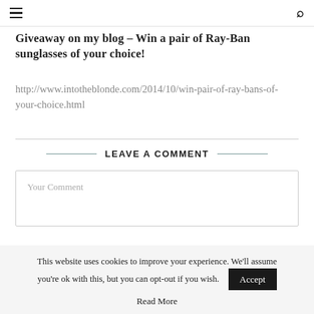≡  🔍
Giveaway on my blog – Win a pair of Ray-Ban sunglasses of your choice!
http://www.intotheblonde.com/2014/10/win-pair-of-ray-bans-of-your-choice.html
LEAVE A COMMENT
Your Comment
This website uses cookies to improve your experience. We'll assume you're ok with this, but you can opt-out if you wish.
Read More